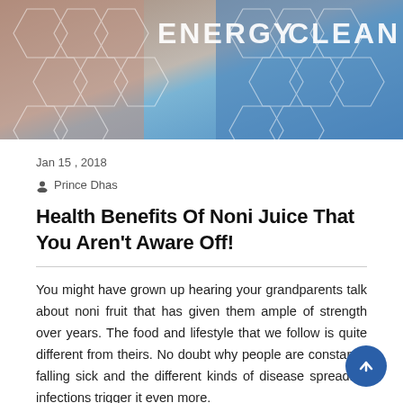[Figure (photo): Header banner image with hexagonal pattern overlay showing health/science theme with text ENERGY and CLEAN in white on blue/gray background]
Jan 15 , 2018
Prince Dhas
Health Benefits Of Noni Juice That You Aren't Aware Off!
You might have grown up hearing your grandparents talk about noni fruit that has given them ample of strength over years. The food and lifestyle that we follow is quite different from theirs. No doubt why people are constantly falling sick and the different kinds of disease spreading infections trigger it even more.